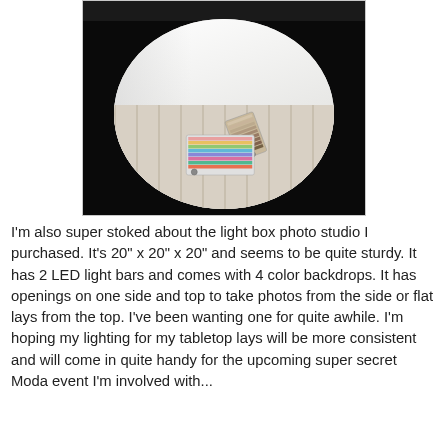[Figure (photo): A light box photo studio with a circular opening revealing a white interior. Inside the light box on a wooden slat platform sits a Pantone color fan/swatch guide. The exterior of the box is black and the interior is bright white. The top of the image shows the black textured exterior of the light box.]
I'm also super stoked about the light box photo studio I purchased. It's 20" x 20" x 20" and seems to be quite sturdy. It has 2 LED light bars and comes with 4 color backdrops. It has openings on one side and top to take photos from the side or flat lays from the top. I've been wanting one for quite awhile. I'm hoping my lighting for my tabletop lays will be more consistent and will come in quite handy for the upcoming super secret Moda event I'm involved with...